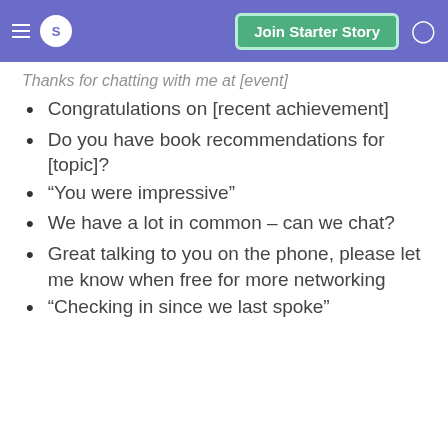S | Join Starter Story
Thanks for chatting with me at [event]
Congratulations on [recent achievement]
Do you have book recommendations for [topic]?
“You were impressive”
We have a lot in common – can we chat?
Great talking to you on the phone, please let me know when free for more networking
“Checking in since we last spoke”